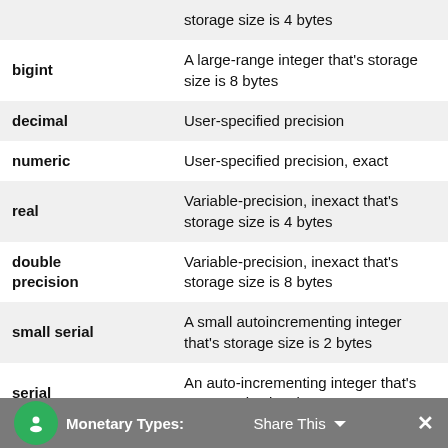| Type | Description |
| --- | --- |
| (partial top) | storage size is 4 bytes |
| bigint | A large-range integer that's storage size is 8 bytes |
| decimal | User-specified precision |
| numeric | User-specified precision, exact |
| real | Variable-precision, inexact that's storage size is 4 bytes |
| double precision | Variable-precision, inexact that's storage size is 8 bytes |
| small serial | A small autoincrementing integer that's storage size is 2 bytes |
| serial | An auto-incrementing integer that's storage size is 4 bytes |
| bigserial | A large autoincrementing integer that's storage size is 8 bytes |
Monetary Types: Share This ✕